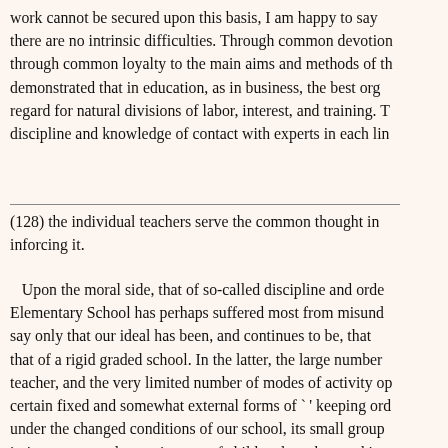work cannot be secured upon this basis, I am happy to say there are no intrinsic difficulties. Through common devotion through common loyalty to the main aims and methods of th demonstrated that in education, as in business, the best org regard for natural divisions of labor, interest, and training. T discipline and knowledge of contact with experts in each lin
(128) the individual teachers serve the common thought in inforcing it.
Upon the moral side, that of so-called discipline and orde Elementary School has perhaps suffered most from misund say only that our ideal has been, and continues to be, that that of a rigid graded school. In the latter, the large number teacher, and the very limited number of modes of activity op certain fixed and somewhat external forms of `' keeping ord under the changed conditions of our school, its small group intimate personal acquaintance of child and teacher, and its differing adaptations to the needs of different children. If we the usual amount of freedom, it has not been in order to rel because under our particular conditions larger and less arti